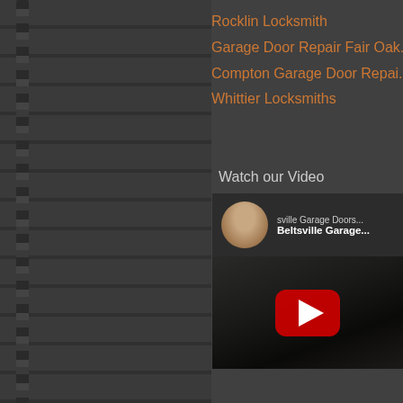Rocklin Locksmith
Garage Door Repair Fair Oak...
Compton Garage Door Repai...
Whittier Locksmiths
Watch our Video
[Figure (screenshot): YouTube video thumbnail showing Beltsville Garage Doors with a man's avatar and play button]